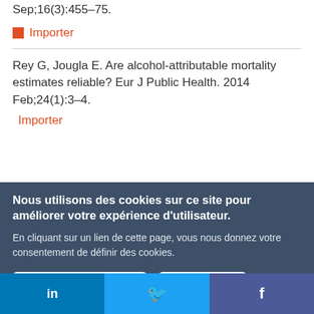Sep;16(3):455–75.
Importer
Rey G, Jougla E. Are alcohol-attributable mortality estimates reliable? Eur J Public Health. 2014 Feb;24(1):3–4.
Importer
Nous utilisons des cookies sur ce site pour améliorer votre expérience d'utilisateur.
En cliquant sur un lien de cette page, vous nous donnez votre consentement de définir des cookies.
in   f
in | twitter | f